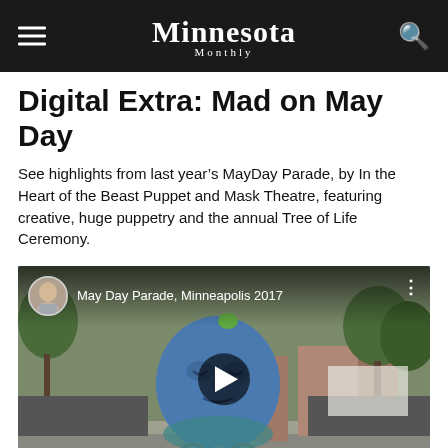Minnesota Monthly
Digital Extra: Mad on May Day
See highlights from last year's MayDay Parade, by In the Heart of the Beast Puppet and Mask Theatre, featuring creative, huge puppetry and the annual Tree of Life Ceremony.
[Figure (screenshot): Embedded video thumbnail showing May Day Parade, Minneapolis 2017, with a large blue puppet mask on a bicycle cart, crowds lining the street, trees and buildings in background. A play button overlay is shown in the center. A small circular avatar of a man is in the top-left of the video frame.]